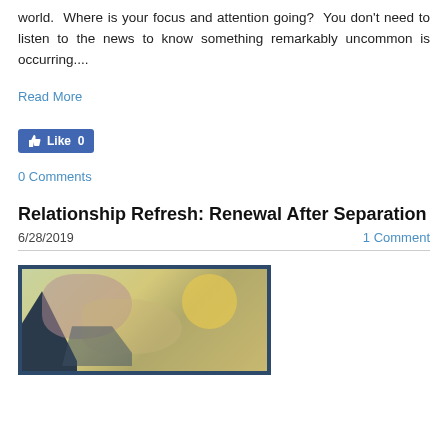world. Where is your focus and attention going? You don't need to listen to the news to know something remarkably uncommon is occurring....
Read More
[Figure (other): Facebook Like button showing 'Like 0']
0 Comments
Relationship Refresh: Renewal After Separation
6/28/2019
1 Comment
[Figure (illustration): Abstract watercolor painting with blue-framed border showing muted purple/pink and yellow tones with dark blue shapes at bottom left]